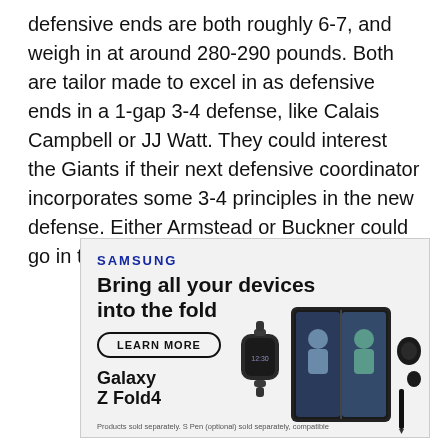defensive ends are both roughly 6-7, and weigh in at around 280-290 pounds. Both are tailor made to excel in as defensive ends in a 1-gap 3-4 defense, like Calais Campbell or JJ Watt. They could interest the Giants if their next defensive coordinator incorporates some 3-4 principles in the new defense. Either Armstead or Buckner could go in the first round or at any time on Day 2.
[Figure (infographic): Samsung advertisement for Galaxy Z Fold4. Text reads: SAMSUNG, Bring all your devices into the fold, LEARN MORE button, Galaxy Z Fold4, with product images of a smartwatch, foldable phone, and earbuds. Footnote: Products sold separately. S Pen (optional) sold separately, compatible.]